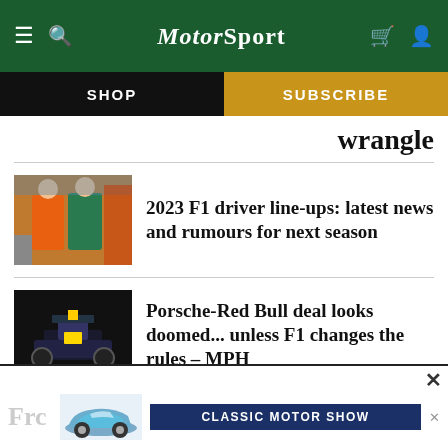MotorSport
SHOP
SUBSCRIBE
wrangle
[Figure (photo): Two F1 drivers walking in paddock, one in orange McLaren kit, one in green Aston Martin kit]
2023 F1 driver line-ups: latest news and rumours for next season
[Figure (photo): Red Bull F1 car rear view, dark background in garage or showroom]
Porsche-Red Bull deal looks doomed... unless F1 changes the rules – MPH
Frc
[Figure (photo): Light blue classic Porsche 911 car advertisement for Classic Motor Show]
CLASSIC MOTOR SHOW